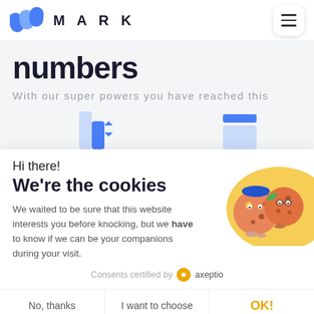MARK
numbers
With our super powers you have reached this
[Figure (bar-chart): Partial bar chart visible, blue bars of varying heights, cut off at bottom]
Hi there!
We're the cookies
We waited to be sure that this website interests you before knocking, but we have to know if we can be your companions during your visit.
Consents certified by axeptio
No, thanks | I want to choose | OK!